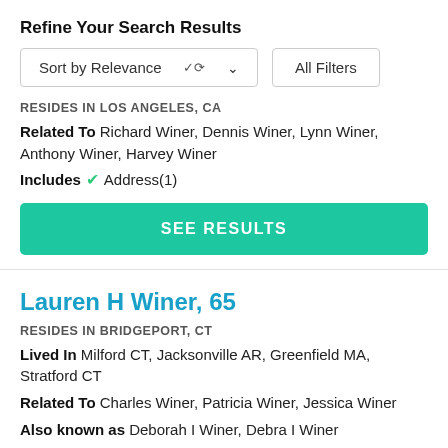Refine Your Search Results
Sort by Relevance   All Filters
RESIDES IN LOS ANGELES, CA
Related To Richard Winer, Dennis Winer, Lynn Winer, Anthony Winer, Harvey Winer
Includes ✓ Address(1)
SEE RESULTS
Lauren H Winer, 65
RESIDES IN BRIDGEPORT, CT
Lived In Milford CT, Jacksonville AR, Greenfield MA, Stratford CT
Related To Charles Winer, Patricia Winer, Jessica Winer
Also known as Deborah I Winer, Debra I Winer
Includes ✓ Address(11) ✓ Phone(5) ✓ Email(1)